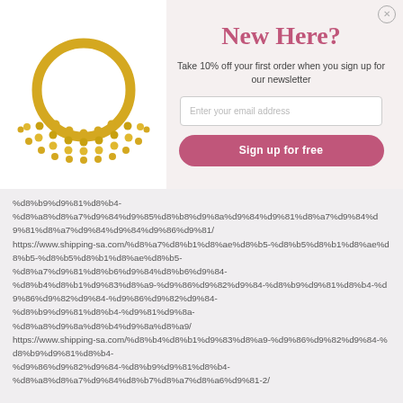[Figure (photo): Gold decorative ring/jewelry piece with ornate beaded fan design, shown on white background]
New Here?
Take 10% off your first order when you sign up for our newsletter
%d8%b9%d9%81%d8%b4-%d8%a8%d8%a7%d9%84%d9%85%d8%b8%d9%8a%d9%84%d9%81/ https://www.shipping-sa.com/%d8%a7%d8%b1%d8%ae%d8%b5-%d8%a7%d9%81%d8%b6%d9%84-%d8%b4%d8%b1%d9%83%d8%a9-%d9%86%d9%82%d9%84-%d8%b9%d9%81%d8%b4-%d9%81%d9%8a-%d8%a8%d9%8a%d8%b4%d9%8a%d8%a9/ https://www.shipping-sa.com/%d8%b4%d8%b1%d9%83%d8%a9-%d9%86%d9%82%d9%84-%d8%b9%d9%81%d8%b4-%d8%a8%d8%a7%d9%84%d8%b7%d8%a7%d8%a6%d9%81-2/